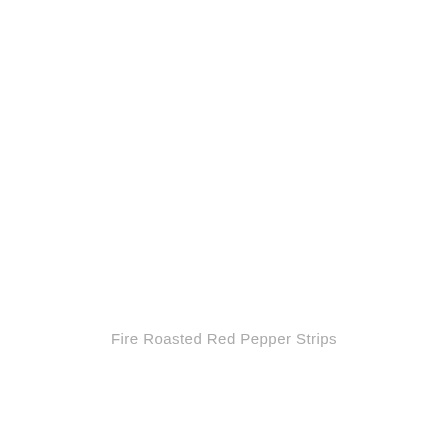Fire Roasted Red Pepper Strips